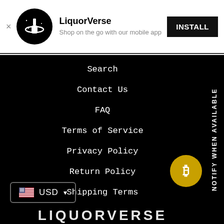[Figure (logo): LiquorVerse app install banner with circular black logo icon, app name, subtitle and INSTALL button]
Search
Contact Us
FAQ
Terms of Service
Privacy Policy
Return Policy
Shipping Terms
Work With LiquorVerse
NOTIFY WHEN AVAILABLE
USD
LIQUORVERSE